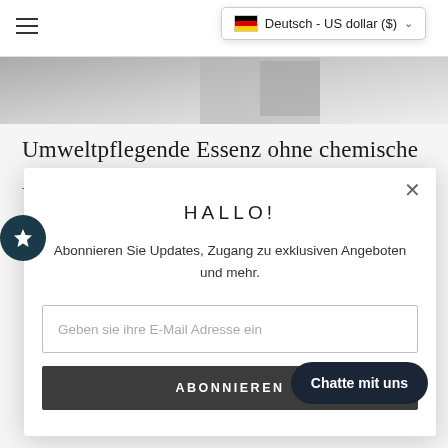≡    🇩🇪 Deutsch - US dollar ($) ∨
[Figure (screenshot): Hero image strip showing a partial product/background image in grayscale]
Umweltpflegende Essenz ohne chemische Adicke...
HALLO!
Abonnieren Sie Updates, Zugang zu exklusiven Angeboten und mehr.
Geben sie ihre E-Mail Adresse ein
ABONNIEREN
Chatte mit uns